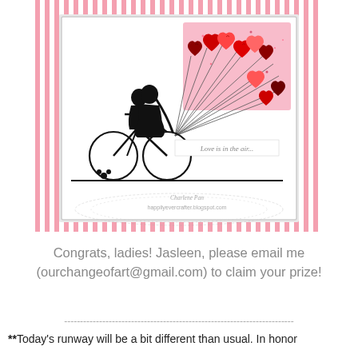[Figure (photo): A handmade greeting card featuring a black silhouette of a couple on a bicycle, with heart-shaped balloons in red and pink shades rising above them. The card has the text 'Love is in the air...' on a white banner. The background has a glittery pink section in the upper right. The card is displayed on a pink and white striped background with a white doily beneath it. A blog watermark reads 'happilyevercrafter.blogspot.com'.]
Congrats, ladies! Jasleen, please email me (ourchangeofart@gmail.com) to claim your prize!
------------------------------------------------------------------------
**Today's runway will be a bit different than usual. In honor